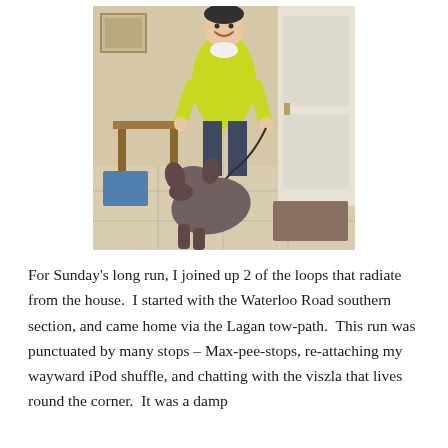[Figure (photo): A person wearing a bright yellow/lime jacket and dark hat stands smiling inside a home entryway, holding a leash. A large brown/grey dog sits on the tile floor in front of them. There is a wooden side table, a white door, and a rug visible in the background.]
For Sunday's long run, I joined up 2 of the loops that radiate from the house.  I started with the Waterloo Road southern section, and came home via the Lagan tow-path.  This run was punctuated by many stops – Max-pee-stops, re-attaching my wayward iPod shuffle, and chatting with the viszla that lives round the corner.  It was a damp